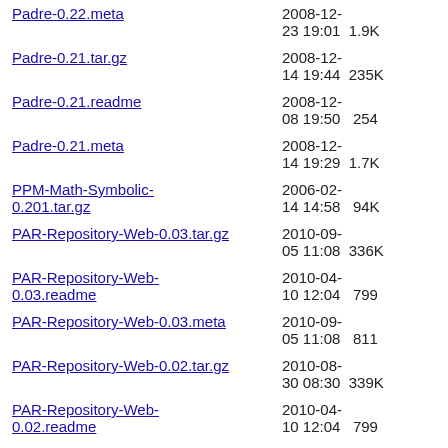Padre-0.22.meta  2008-12-23 19:01  1.9K
Padre-0.21.tar.gz  2008-12-14 19:44  235K
Padre-0.21.readme  2008-12-08 19:50  254
Padre-0.21.meta  2008-12-14 19:29  1.7K
PPM-Math-Symbolic-0.201.tar.gz  2006-02-14 14:58  94K
PAR-Repository-Web-0.03.tar.gz  2010-09-05 11:08  336K
PAR-Repository-Web-0.03.readme  2010-04-10 12:04  799
PAR-Repository-Web-0.03.meta  2010-09-05 11:08  811
PAR-Repository-Web-0.02.tar.gz  2010-08-30 08:30  339K
PAR-Repository-Web-0.02.readme  2010-04-10 12:04  799
PAR-Repository-Web-0.02.meta  2010-08-30 08:29  821
2008-06-